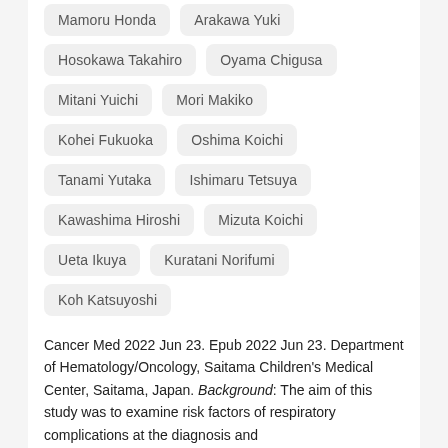Mamoru Honda
Arakawa Yuki
Hosokawa Takahiro
Oyama Chigusa
Mitani Yuichi
Mori Makiko
Kohei Fukuoka
Oshima Koichi
Tanami Yutaka
Ishimaru Tetsuya
Kawashima Hiroshi
Mizuta Koichi
Ueta Ikuya
Kuratani Norifumi
Koh Katsuyoshi
Cancer Med 2022 Jun 23. Epub 2022 Jun 23. Department of Hematology/Oncology, Saitama Children's Medical Center, Saitama, Japan. Background: The aim of this study was to examine risk factors of respiratory complications at the diagnosis and